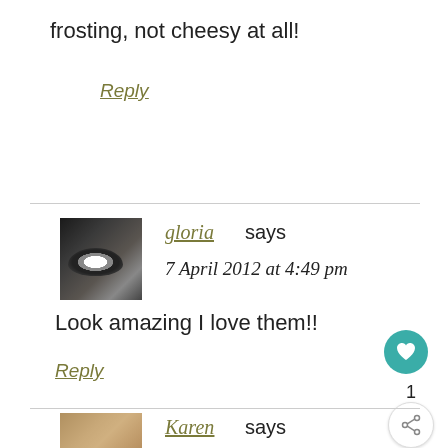frosting, not cheesy at all!
Reply
gloria says
7 April 2012 at 4:49 pm
Look amazing I love them!!
Reply
1
[Figure (photo): Avatar photo of gloria - close up eye photo dark background]
Karen says